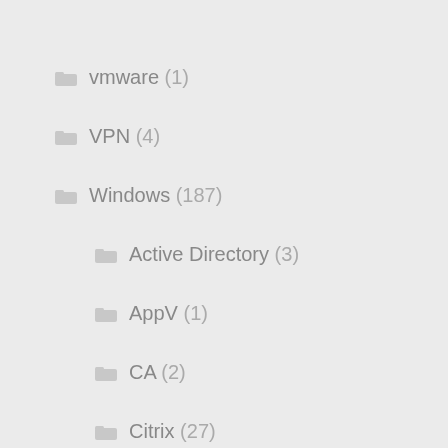vmware (1)
VPN (4)
Windows (187)
Active Directory (3)
AppV (1)
CA (2)
Citrix (27)
Exchange (44)
GPO (1)
HyperV (2)